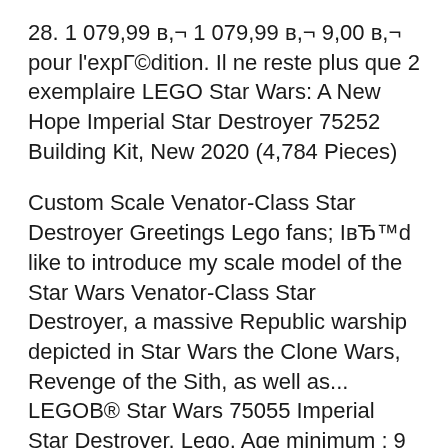28. 1 079,99 в,¬ 1 079,99 в,¬ 9,00 в,¬ pour l'expГ©dition. Il ne reste plus que 2 exemplaire LEGO Star Wars: A New Hope Imperial Star Destroyer 75252 Building Kit, New 2020 (4,784 Pieces)
Custom Scale Venator-Class Star Destroyer Greetings Lego fans; IвЂ™d like to introduce my scale model of the Star Wars Venator-Class Star Destroyer, a massive Republic warship depicted in Star Wars the Clone Wars, Revenge of the Sith, as well as... LEGOB® Star Wars 75055 Imperial Star Destroyer. Lego. Age minimum : 9 ans. Livraison gratuite dГЁs 25 в,¬ d'achat. En poursuivant votre navigation, vous acceptez la politique Cookies, le dГ©pГrt de